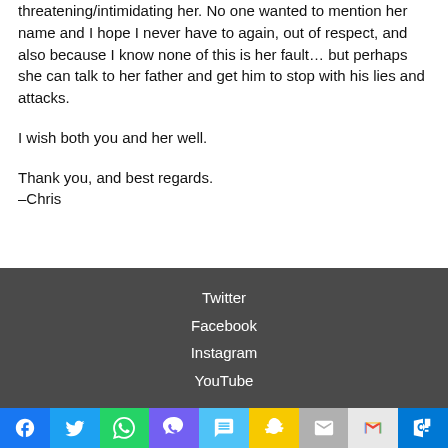threatening/intimidating her. No one wanted to mention her name and I hope I never have to again, out of respect, and also because I know none of this is her fault… but perhaps she can talk to her father and get him to stop with his lies and attacks.
I wish both you and her well.
Thank you, and best regards.
–Chris
Twitter
Facebook
Instagram
YouTube